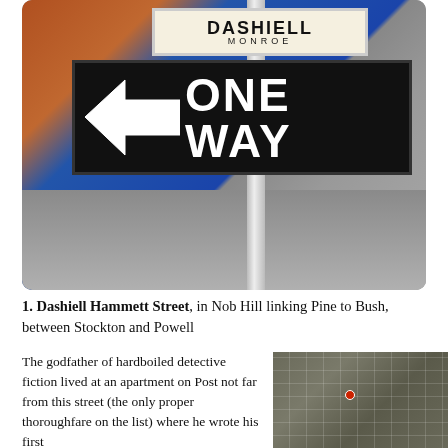[Figure (photo): Photograph of street signs: 'DASHIELL MONROE' street sign above a black ONE WAY arrow sign pointing left, mounted on a pole against a blue building background.]
1. Dashiell Hammett Street, in Nob Hill linking Pine to Bush, between Stockton and Powell
The godfather of hardboiled detective fiction lived at an apartment on Post not far from this street (the only proper thoroughfare on the list) where he wrote his first
[Figure (map): Aerial/satellite map view of a city block grid with a red dot marker indicating the location of Dashiell Hammett Street.]